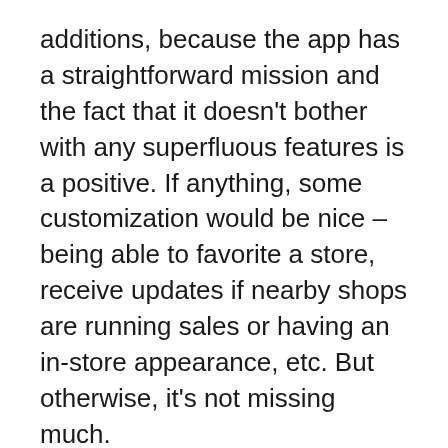additions, because the app has a straightforward mission and the fact that it doesn't bother with any superfluous features is a positive. If anything, some customization would be nice – being able to favorite a store, receive updates if nearby shops are running sales or having an in-store appearance, etc. But otherwise, it's not missing much.
Overall: If you love records and you don't want to see record stores disappear, this app is a worthy download. It may introduce you to stores you didn't know existed, and maybe you'll (re)discover the fun of finding that Holy Grail of an album you've been hunting for